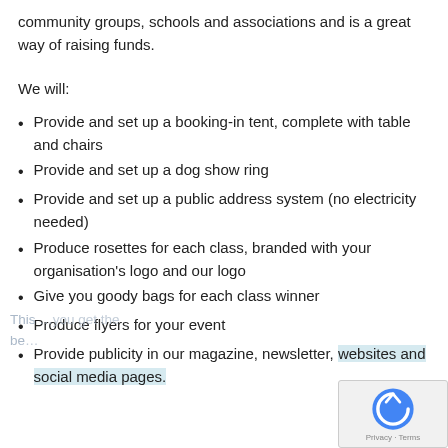community groups, schools and associations and is a great way of raising funds.
We will:
Provide and set up a booking-in tent, complete with table and chairs
Provide and set up a dog show ring
Provide and set up a public address system (no electricity needed)
Produce rosettes for each class, branded with your organisation's logo and our logo
Give you goody bags for each class winner
Produce flyers for your event
Provide publicity in our magazine, newsletter, websites and social media pages.